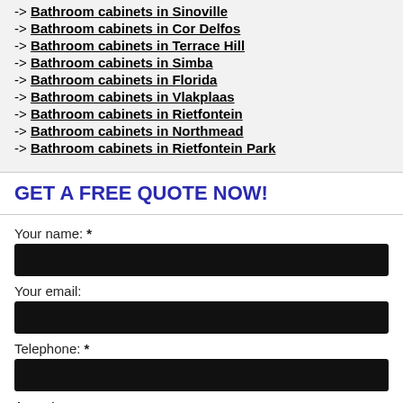-> Bathroom cabinets in Sinoville
-> Bathroom cabinets in Cor Delfos
-> Bathroom cabinets in Terrace Hill
-> Bathroom cabinets in Simba
-> Bathroom cabinets in Florida
-> Bathroom cabinets in Vlakplaas
-> Bathroom cabinets in Rietfontein
-> Bathroom cabinets in Northmead
-> Bathroom cabinets in Rietfontein Park
GET A FREE QUOTE NOW!
Your name: *
Your email:
Telephone: *
Area: *